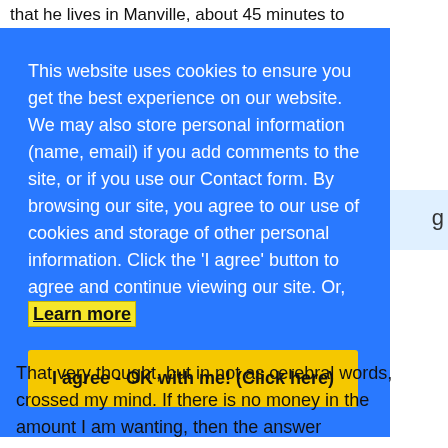that he lives in Manville, about 45 minutes to
This website uses cookies to ensure you get the best experience on our website. We may also store personal information (name, email) if you add comments to the site, or if you use our Contact form. By browsing our site, you agree to our use of cookies and storage of other personal information. Click the 'I agree' button to agree and continue viewing our site. Or, Learn more
I agree - OK with me! (Click here)
That very thought, but in not as cerebral words, crossed my mind. If there is no money in the amount I am wanting, then the answer